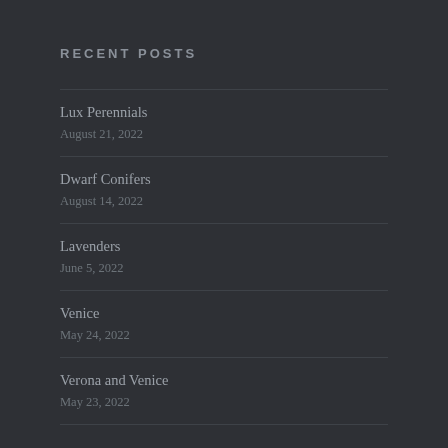RECENT POSTS
Lux Perennials
August 21, 2022
Dwarf Conifers
August 14, 2022
Lavenders
June 5, 2022
Venice
May 24, 2022
Verona and Venice
May 23, 2022